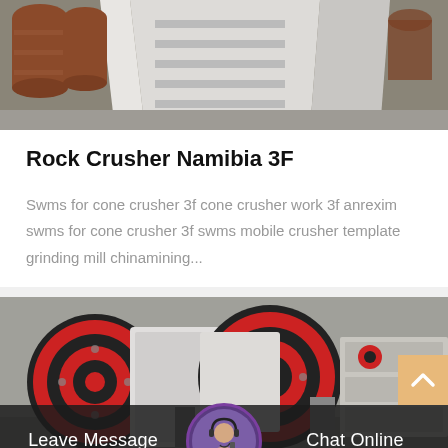[Figure (photo): Top portion of a white industrial machine or equipment, possibly a crusher, sitting on a concrete surface with rusty barrels/drums visible in the background.]
Rock Crusher Namibia 3F
Swms for cone crusher 3f cone crusher work 3f anrexim swms for cone crusher 3f swms mobile crusher template grinding mill chinamining...
[Figure (photo): Industrial jaw crushers with large red and black rubber wheels/flywheels, white metal body, multiple units visible in what appears to be a factory or warehouse setting.]
Leave Message   Chat Online